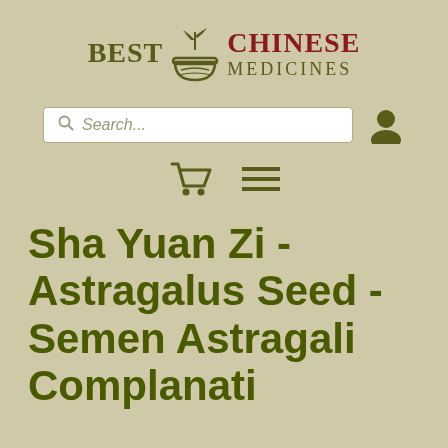[Figure (logo): Best Chinese Medicines logo with plant/mortar icon, olive green and dark red text]
[Figure (screenshot): Search bar with magnifying glass icon and placeholder text 'Search...' on beige background, plus user account icon to the right]
[Figure (infographic): Shopping cart icon and hamburger menu icon in olive green]
Sha Yuan Zi - Astragalus Seed - Semen Astragali Complanati